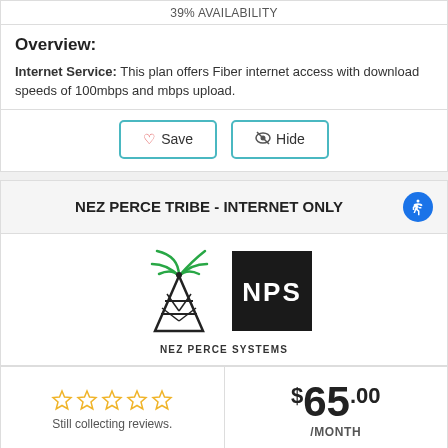39% AVAILABILITY
Overview:
Internet Service: This plan offers Fiber internet access with download speeds of 100mbps and mbps upload.
Save  Hide
NEZ PERCE TRIBE - INTERNET ONLY
[Figure (logo): Nez Perce Systems logo: wireless tower with green signal arcs and black NPS square logo]
Still collecting reviews.
$65.00 /MONTH